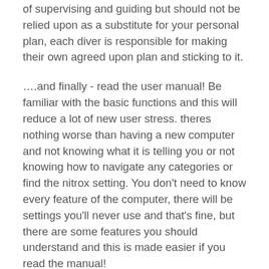of supervising and guiding but should not be relied upon as a substitute for your personal plan, each diver is responsible for making their own agreed upon plan and sticking to it.
….and finally - read the user manual! Be familiar with the basic functions and this will reduce a lot of new user stress. theres nothing worse than having a new computer and not knowing what it is telling you or not knowing how to navigate any categories or find the nitrox setting. You don't need to know every feature of the computer, there will be settings you'll never use and that's fine, but there are some features you should understand and this is made easier if you read the manual!
TIP: Use promo code Magazine in the SAGA store and get a discount on any of our dive computers.